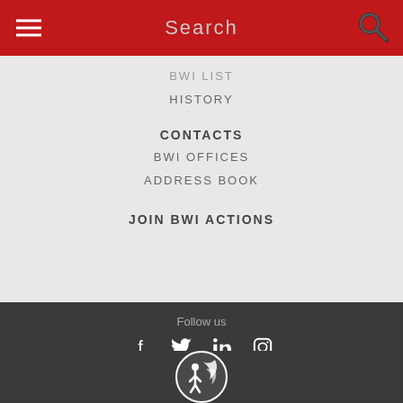Search
BWI LIST
HISTORY
CONTACTS
BWI OFFICES
ADDRESS BOOK
JOIN BWI ACTIONS
Follow us
[Figure (other): Social media icons: Facebook, Twitter, LinkedIn, Instagram]
Copyright © 2016 BWI. All rights reserved.
[Figure (logo): BWI circular logo with figure and flame design in white on dark background]